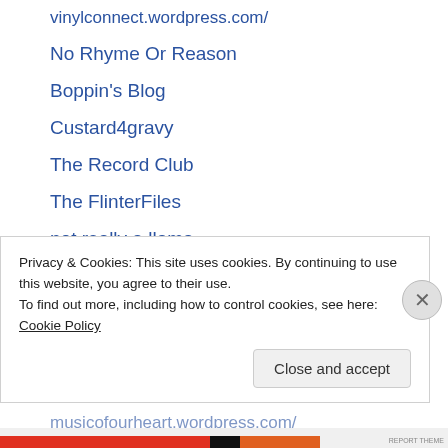vinylconnect.wordpress.com/
No Rhyme Or Reason
Boppin's Blog
Custard4gravy
The Record Club
The FlinterFiles
not really a llama
wholehoggblog
Pop Culture Forays
Damyanti Biswas
HEAVY METAL OVERLOAD
musicofourheart.wordpress.com/
Privacy & Cookies: This site uses cookies. By continuing to use this website, you agree to their use. To find out more, including how to control cookies, see here: Cookie Policy
Close and accept